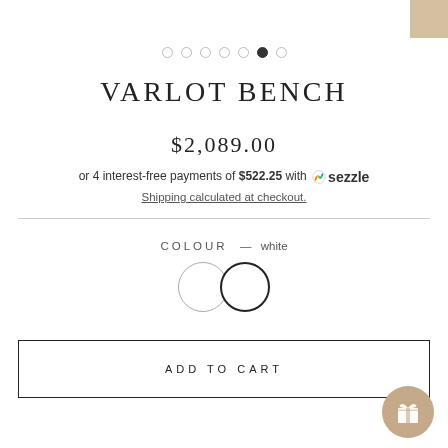[Figure (other): Tan/beige fabric swatch in top right corner]
[Figure (other): Carousel navigation dots, 7 dots with 6th filled]
VARLOT BENCH
$2,089.00
or 4 interest-free payments of $522.25 with sezzle
Shipping calculated at checkout.
COLOUR — white
[Figure (other): Two circular colour swatches: plain white outlined circle and white circle with thick dark border (selected)]
ADD TO CART
[Figure (other): Gift/loyalty icon circle in bottom right corner (tan background with white gift icon)]